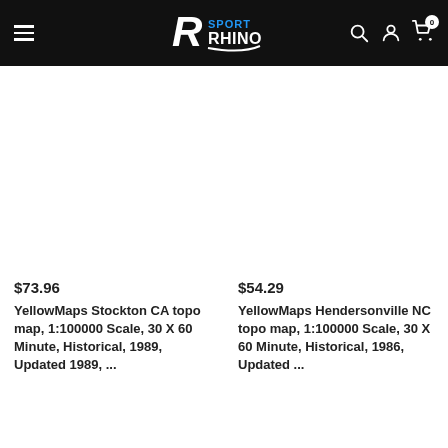Sport Rhino — navigation header with logo, hamburger menu, search, account, and cart icons
$73.96
YellowMaps Stockton CA topo map, 1:100000 Scale, 30 X 60 Minute, Historical, 1989, Updated 1989, ...
$54.29
YellowMaps Hendersonville NC topo map, 1:100000 Scale, 30 X 60 Minute, Historical, 1986, Updated ...